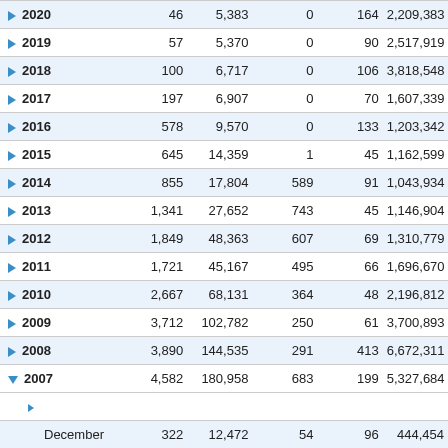| Year |  |  |  |  |  |
| --- | --- | --- | --- | --- | --- |
| 2020 | 46 | 5,383 | 0 | 164 | 2,209,383 |
| 2019 | 57 | 5,370 | 0 | 90 | 2,517,919 |
| 2018 | 100 | 6,717 | 0 | 106 | 3,818,548 |
| 2017 | 197 | 6,907 | 0 | 70 | 1,607,339 |
| 2016 | 578 | 9,570 | 0 | 133 | 1,203,342 |
| 2015 | 645 | 14,359 | 1 | 45 | 1,162,599 |
| 2014 | 855 | 17,804 | 589 | 91 | 1,043,934 |
| 2013 | 1,341 | 27,652 | 743 | 45 | 1,146,904 |
| 2012 | 1,849 | 48,363 | 607 | 69 | 1,310,779 |
| 2011 | 1,721 | 45,167 | 495 | 66 | 1,696,670 |
| 2010 | 2,667 | 68,131 | 364 | 48 | 2,196,812 |
| 2009 | 3,712 | 102,782 | 250 | 61 | 3,700,893 |
| 2008 | 3,890 | 144,535 | 291 | 413 | 6,672,311 |
| 2007 (expanded) | 4,582 | 180,958 | 683 | 199 | 5,327,684 |
| December | 322 | 12,472 | 54 | 96 | 444,454 |